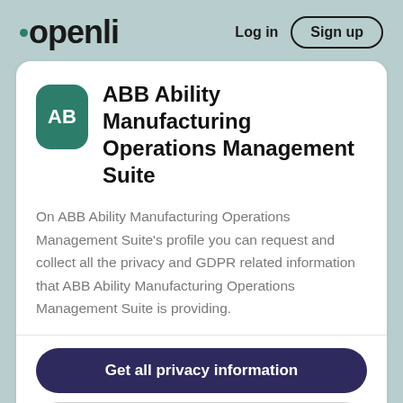openli — Log in | Sign up
ABB Ability Manufacturing Operations Management Suite
On ABB Ability Manufacturing Operations Management Suite's profile you can request and collect all the privacy and GDPR related information that ABB Ability Manufacturing Operations Management Suite is providing.
Get all privacy information
Website